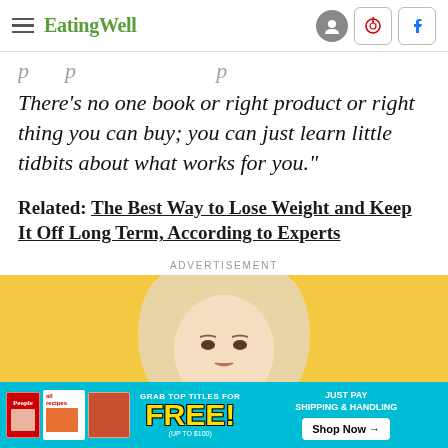EatingWell
There's no one book or right product or right thing you can buy; you can just learn little tidbits about what works for you."
Related: The Best Way to Lose Weight and Keep It Off Long Term, According to Experts
ADVERTISEMENT
[Figure (photo): Advertisement image showing a blonde woman against a yellow background]
[Figure (infographic): Bottom banner ad for magazine subscriptions: People, allrecipes. Text: GRAB TOP TITLES FOR FREE! (UP TO $100) JUST PAY SHIPPING & HANDLING Shop Now →]